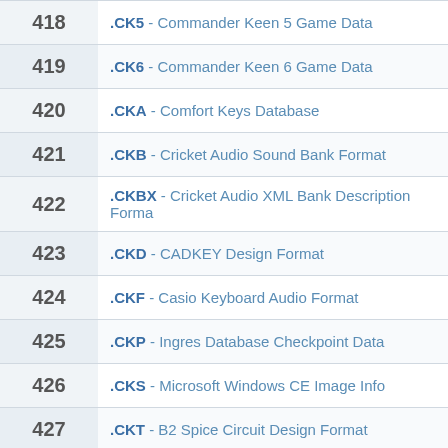| # | Extension - Description |
| --- | --- |
| 418 | .CK5 - Commander Keen 5 Game Data |
| 419 | .CK6 - Commander Keen 6 Game Data |
| 420 | .CKA - Comfort Keys Database |
| 421 | .CKB - Cricket Audio Sound Bank Format |
| 422 | .CKBX - Cricket Audio XML Bank Description Forma |
| 423 | .CKD - CADKEY Design Format |
| 424 | .CKF - Casio Keyboard Audio Format |
| 425 | .CKP - Ingres Database Checkpoint Data |
| 426 | .CKS - Microsoft Windows CE Image Info |
| 427 | .CKT - B2 Spice Circuit Design Format |
| 428 | .CKZ - QuickSFV File Verification Database |